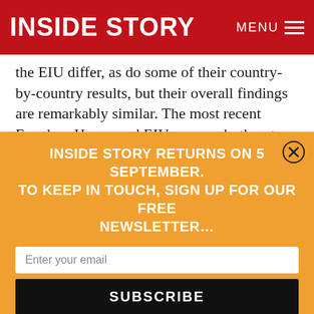INSIDE STORY
the EIU differ, as do some of their country-by-country results, but their overall findings are remarkably similar. The most recent Freedom House and EIU surveys both put Norway at the top of their charts (with Sweden and Finland joint first in Freedom House’s ranking, and Iceland and Sweden coming second and third in the EIU’s), and countries notorious for human rights violations, such as North Korea, Syria and Turkmenistan, at the bottom.
Election outcomes have also been used as evidence of the decline of liberal democracy, and
INSIDE STORY RETURNS ON 5 SEPTEMBER. TO KEEP IN TOUCH, SIGN UP FOR OUR FREE NEWSLETTER…
Enter your email
SUBSCRIBE